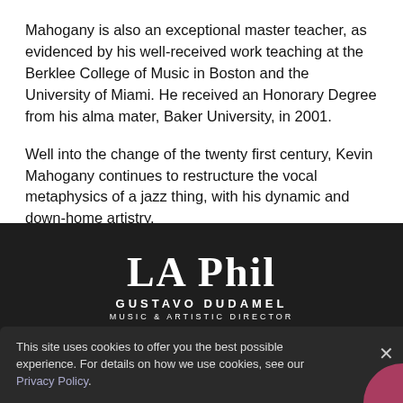Mahogany is also an exceptional master teacher, as evidenced by his well-received work teaching at the Berklee College of Music in Boston and the University of Miami. He received an Honorary Degree from his alma mater, Baker University, in 2001.
Well into the change of the twenty first century, Kevin Mahogany continues to restructure the vocal metaphysics of a jazz thing, with his dynamic and down-home artistry.
[Figure (logo): LA Phil logo with text 'LA Phil' in large serif font, below it 'GUSTAVO DUDAMEL' in spaced caps, and 'MUSIC & ARTISTIC DIRECTOR' in smaller caps, all in white on dark background]
This site uses cookies to offer you the best possible experience. For details on how we use cookies, see our Privacy Policy.